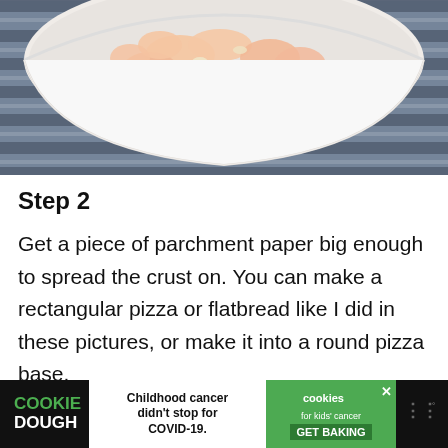[Figure (photo): A white bowl filled with raw chicken pieces mixed with what appears to be minced garlic or onion, placed on a dark striped cloth or towel]
Step 2
Get a piece of parchment paper big enough to spread the crust on. You can make a rectangular pizza or flatbread like I did in these pictures, or make it into a round pizza base.
Spread the chicken “dough” out on the parchment paper, in the shape you want. Then pu... ...sheet or
[Figure (other): Advertisement banner: Cookie Dough brand - Childhood cancer didn't stop for COVID-19. Cookies for kids' cancer. GET BAKING. Close button visible.]